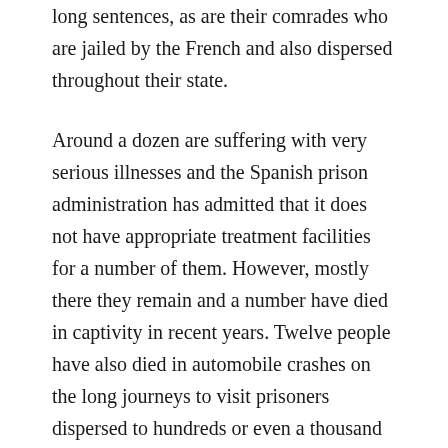long sentences, as are their comrades who are jailed by the French and also dispersed throughout their state.
Around a dozen are suffering with very serious illnesses and the Spanish prison administration has admitted that it does not have appropriate treatment facilities for a number of them. However, mostly there they remain and a number have died in captivity in recent years. Twelve people have also died in automobile crashes on the long journeys to visit prisoners dispersed to hundreds or even a thousand kilometres from their homes and an average of one serious traffic accident a month for visitors was recorded last year.
Dispersal is a serious issue and for many years has been one of those upon which the movement concentrated, in